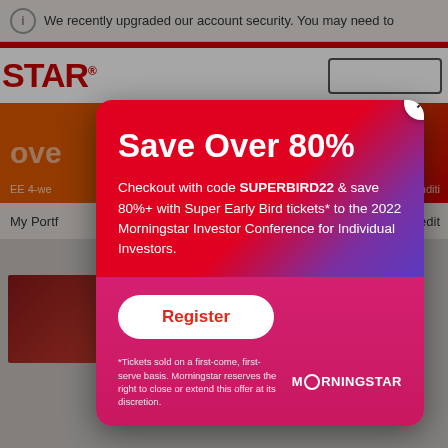We recently upgraded our account security. You may need to
[Figure (screenshot): Morningstar website background with logo, navigation, and promotional banner showing 'Save Over 80%' text]
Save Over 80%
Checkout with code SUPERBIRD22 & save 80%+ with Super Early Bird tickets* to the 2022 Morningstar Investor Conference for Individual Investors.
Register
*Tickets sold on a first-come, first-serve basis. Morningstar reserves the right to close or extend this offer at its discretion.
News
It's probably time to rebalance your portfolio